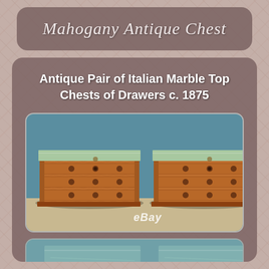Mahogany Antique Chest
Antique Pair of Italian Marble Top Chests of Drawers c. 1875
[Figure (photo): Photograph of a pair of antique Italian marble top chests of drawers, circa 1875, with walnut burl veneer and decorative brass hardware, shown side by side against a blue background on a beige carpet. eBay watermark visible at bottom.]
[Figure (photo): Partial photograph showing green marble tops of the antique Italian chests of drawers.]